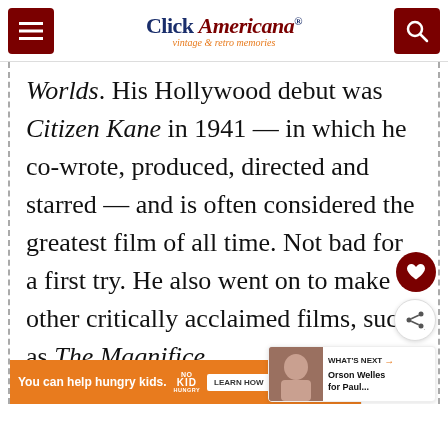Click Americana — vintage & retro memories
Worlds. His Hollywood debut was Citizen Kane in 1941 — in which he co-wrote, produced, directed and starred — and is often considered the greatest film of all time. Not bad for a first try. He also went on to make other critically acclaimed films, such as The Magnificent Ambersons and Touch of Evil.
[Figure (screenshot): What's Next widget showing Orson Welles for Paul...]
[Figure (infographic): No Kid Hungry ad banner: You can help hungry kids. Learn How.]